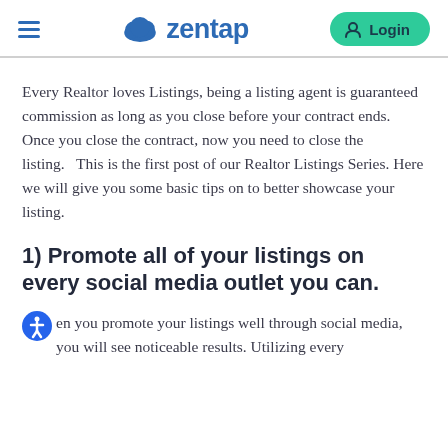zentap — Login
Every Realtor loves Listings, being a listing agent is guaranteed commission as long as you close before your contract ends. Once you close the contract, now you need to close the listing.   This is the first post of our Realtor Listings Series. Here we will give you some basic tips on to better showcase your listing.
1) Promote all of your listings on every social media outlet you can.
en you promote your listings well through social media, you will see noticeable results. Utilizing every